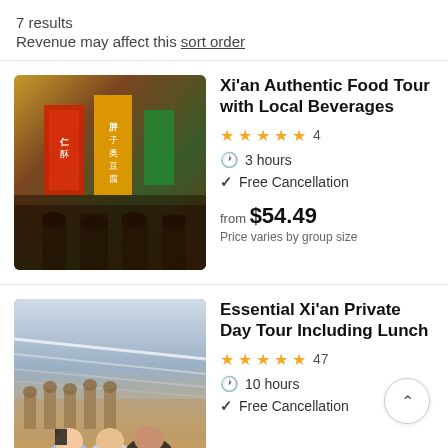7 results
Revenue may affect this sort order
Xi'an Authentic Food Tour with Local Beverages
★★★★★ 4 | 3 hours | Free Cancellation | from $54.49 | Price varies by group size
[Figure (photo): Crowded street market scene in Xi'an with colorful Chinese signage and banners]
Essential Xi'an Private Day Tour Including Lunch
★★★★★ 47 | 10 hours | Free Cancellation
[Figure (photo): Two adults and a young woman posing in front of the Terracotta Warriors excavation site]